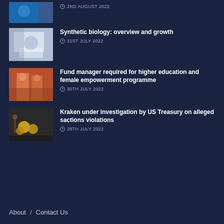2ND AUGUST 2022
[Figure (photo): Partial photo at top of page, cropped]
Synthetic biology: overview and growth
31ST JULY 2022
[Figure (photo): Photo of a person in a lab/event setting]
Fund manager required for higher education and female empowerment programme
30TH JULY 2022
[Figure (photo): Photo of people in colorful traditional dress]
Kraken under investigation by US Treasury on alleged sactions violations
28TH JULY 2022
[Figure (photo): Photo of coins/cryptocurrency on a dark background]
About / Contact Us